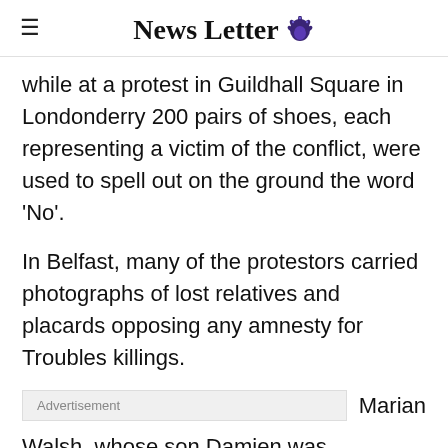News Letter
while at a protest in Guildhall Square in Londonderry 200 pairs of shoes, each representing a victim of the conflict, were used to spell out on the ground the word ‘No’.
In Belfast, many of the protestors carried photographs of lost relatives and placards opposing any amnesty for Troubles killings.
Advertisement   Marian Walsh, whose son Damien was murdered by loyalist paramilitaries in Belfast in 1993, told the demonstration those responsible for crimes